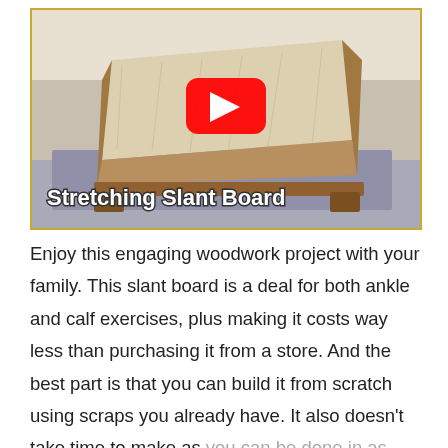[Figure (screenshot): YouTube video thumbnail showing a wooden stretching slant board. The thumbnail has a YouTube play button in the center and the title 'Stretching Slant Board' overlaid in white bold text at the bottom left. The wooden slant board is angled on a blue mat surface.]
Enjoy this engaging woodwork project with your family. This slant board is a deal for both ankle and calf exercises, plus making it costs way less than purchasing it from a store. And the best part is that you can build it from scratch using scraps you already have. It also doesn't take time to make as you can be done in as little as an hour. Be sure to confirm your slant boards are safe to use before